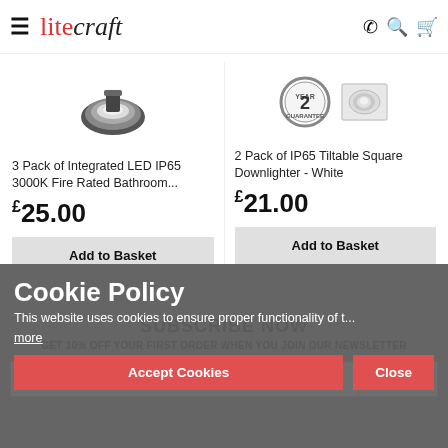litecraft — navigation header with hamburger menu, phone, search, and cart icons
[Figure (photo): 3 Pack of Integrated LED IP65 3000K Fire Rated Bathroom downlighter product image]
3 Pack of Integrated LED IP65 3000K Fire Rated Bathroom...
£25.00
Add to Basket
[Figure (photo): 2 Pack of IP65 Tiltable Square Downlighter - White product image with 2 Year Guarantee badge]
2 Pack of IP65 Tiltable Square Downlighter - White
£21.00
Add to Basket
Cookie Policy
This website uses cookies to ensure proper functionality of t...
more
Accept Cookies
Close
SUBSCRIBE NOW
GET 10% OFF YOUR FIRST ORDER WHEN YOU JOIN OUR NEWSLETTER
Enter your email address
Subscribe